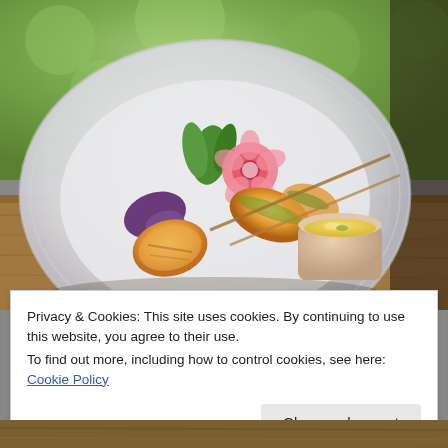[Figure (photo): A white ceramic plate with grilled scallop skewers garnished with green herbs, a carved radish flower, purple basil leaves, and a small ceramic cup of yellow dipping sauce, set on a wooden table with green bokeh background.]
Privacy & Cookies: This site uses cookies. By continuing to use this website, you agree to their use.
To find out more, including how to control cookies, see here: Cookie Policy
Close and accept